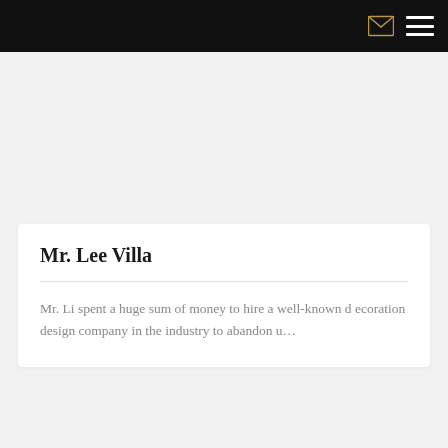Mr. Lee Villa
Mr. Li spent a huge sum of money to hire a well-known decoration design company in the industry to abandon u…